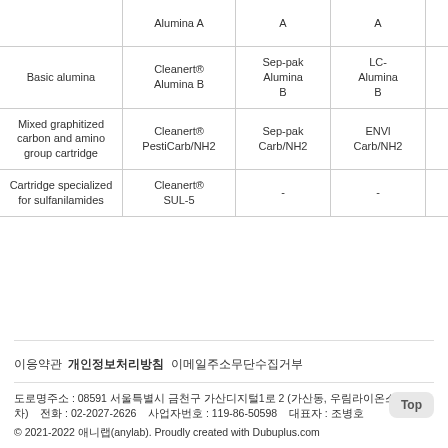|  | Cleanert® | Sep-pak | LC- | AccuB |
| --- | --- | --- | --- | --- |
|  | Alumina A | A | A | Alumi |
| Basic alumina | Cleanert® Alumina B | Sep-pak Alumina B | LC-Alumina B | AccuB Alum |
| Mixed graphitized carbon and amino group cartridge | Cleanert® PestiCarb/NH2 | Sep-pak Carb/NH2 | ENVl Carb/NH2 | - |
| Cartridge specialized for sulfanilamides | Cleanert® SUL-5 | - | - | - |
이응약관 개인정보처리방침 이메일주소무단수집거부
도로명주소 : 08591 서울특별시 금천구 가산디지털1로 2 (가산동, 우림라이온스밸리2차)    전화 : 02-2027-2626    사업자번호 : 119-86-50598    대표자 : 조병호
© 2021-2022 애니랩(anylab). Proudly created with Dubuplus.com